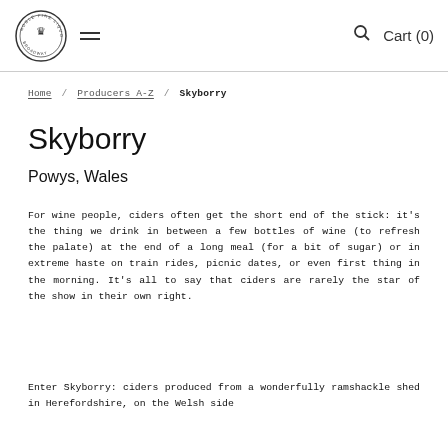Noble Fine Liquor — menu, search, Cart (0)
Home / Producers A-Z / Skyborry
Skyborry
Powys, Wales
For wine people, ciders often get the short end of the stick: it’s the thing we drink in between a few bottles of wine (to refresh the palate) at the end of a long meal (for a bit of sugar) or in extreme haste on train rides, picnic dates, or even first thing in the morning. It’s all to say that ciders are rarely the star of the show in their own right.
Enter Skyborry: ciders produced from a wonderfully ramshackle shed in Herefordshire, on the Welsh side